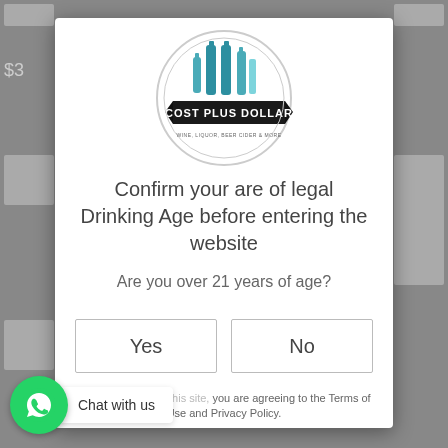[Figure (logo): Cost Plus Dollar circular logo with bottles and banner]
Confirm your are of legal Drinking Age before entering the website
Are you over 21 years of age?
Yes
No
By continuing with this site, you are agreeing to the Terms of Use and Privacy Policy.
[Figure (illustration): WhatsApp chat button with 'Chat with us' label]